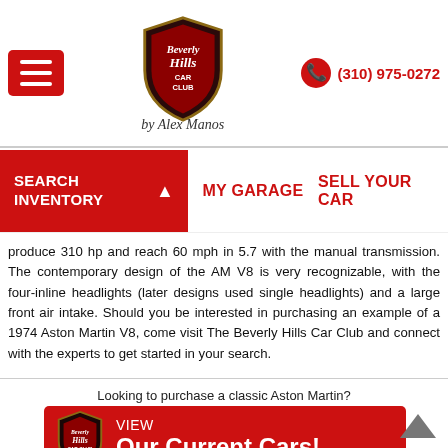Beverly Hills Car Club by Alex Manos — (310) 975-0272
SEARCH INVENTORY | MY GARAGE | SELL YOUR CAR
produce 310 hp and reach 60 mph in 5.7 with the manual transmission. The contemporary design of the AM V8 is very recognizable, with the four-inline headlights (later designs used single headlights) and a large front air intake. Should you be interested in purchasing an example of a 1974 Aston Martin V8, come visit The Beverly Hills Car Club and connect with the experts to get started in your search.
Looking to purchase a classic Aston Martin?
[Figure (infographic): Red banner with Beverly Hills Car Club shield logo on left, and text reading VIEW / Our Current Cars!]